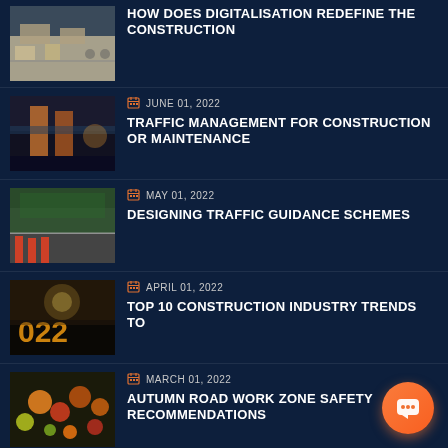HOW DOES DIGITALISATION REDEFINE THE CONSTRUCTION
JUNE 01, 2022 — TRAFFIC MANAGEMENT FOR CONSTRUCTION OR MAINTENANCE
MAY 01, 2022 — DESIGNING TRAFFIC GUIDANCE SCHEMES
APRIL 01, 2022 — TOP 10 CONSTRUCTION INDUSTRY TRENDS TO
MARCH 01, 2022 — AUTUMN ROAD WORK ZONE SAFETY RECOMMENDATIONS
FEBRUARY 01, 2022 — ABSOLUTE TRAFFIC MANAGEMENT: OUR STORY, OUR